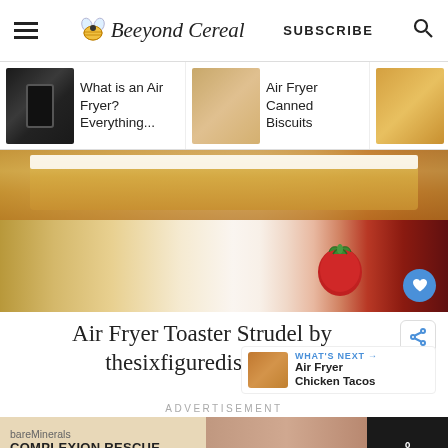Beeyond Cereal — SUBSCRIBE
[Figure (screenshot): Navigation strip with three food articles: 'What is an Air Fryer? Everything...', 'Air Fryer Canned Biscuits', 'Air Fryer Frozen Ga... Bread']
[Figure (photo): Close-up photo of Air Fryer Toaster Strudel with white icing glaze and a strawberry, on white paper]
Air Fryer Toaster Strudel by thesixfiguredish.com
WHAT'S NEXT → Air Fryer Chicken Tacos
ADVERTISEMENT
[Figure (photo): Advertisement banner: bareMinerals COMPLEXION RESCUE Tinted Moisturizer SPF 30 with model photo]